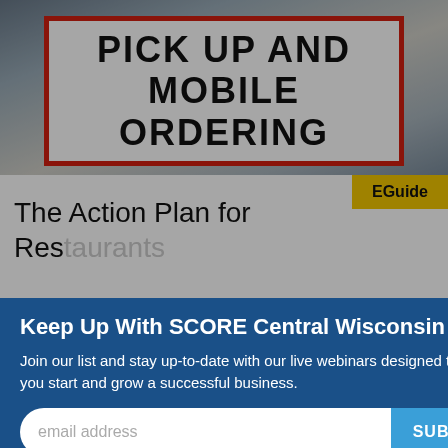[Figure (photo): Photo of a sign reading PICK UP AND MOBILE ORDERING with a red border, on an outdoor background]
EGuide
The Action Plan for Restaurants
Keep Up With SCORE Central Wisconsin
Join our list and stay up-to-date with our live webinars designed to help you start and grow a successful business.
email address
SUBMIT
[Figure (logo): deluxe. logo in white text with red X]
[Figure (logo): U.S. Small Business Administration (SBA) logo with square bracket icon]